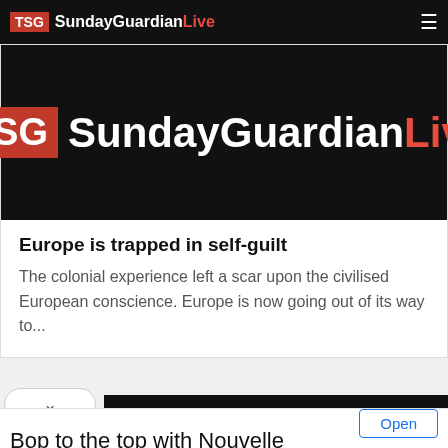TSG SundayGuardianLive
[Figure (logo): TSG SundayGuardianLive logo on black background banner]
Europe is trapped in self-guilt
The colonial experience left a scar upon the civilised European conscience. Europe is now going out of its way to...
Bop to the top with Nouvelle
Bring your salon to the next level with Nouvelle's hair products, entirely made in Italy Nouvelle New Generation